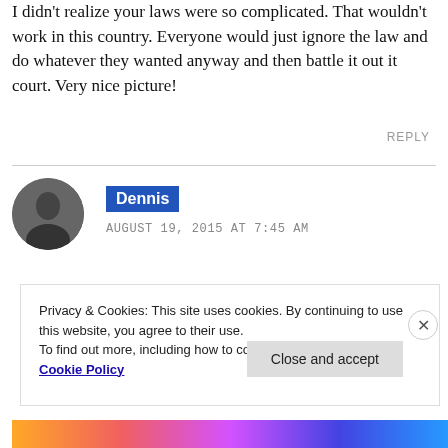I didn't realize your laws were so complicated. That wouldn't work in this country. Everyone would just ignore the law and do whatever they wanted anyway and then battle it out it court. Very nice picture!
REPLY
Dennis
AUGUST 19, 2015 AT 7:45 AM
Privacy & Cookies: This site uses cookies. By continuing to use this website, you agree to their use.
To find out more, including how to control cookies, see here: Cookie Policy
Close and accept